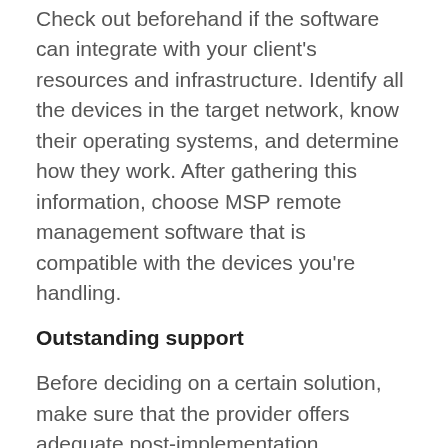Check out beforehand if the software can integrate with your client's resources and infrastructure. Identify all the devices in the target network, know their operating systems, and determine how they work. After gathering this information, choose MSP remote management software that is compatible with the devices you're handling.
Outstanding support
Before deciding on a certain solution, make sure that the provider offers adequate post-implementation assistance. You can't be too confident in the flawless integration of new software with your infrastructure, because anything can go wrong. It might be best to consider vendors with proven experience in your